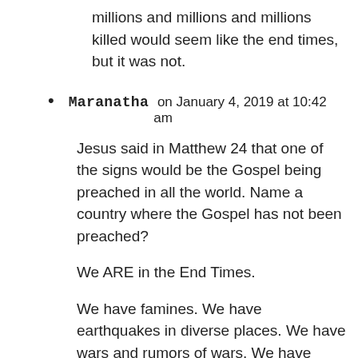...and the total destruction of Europe and millions and millions and millions killed would seem like the end times, but it was not.
Maranatha on January 4, 2019 at 10:42 am
Jesus said in Matthew 24 that one of the signs would be the Gospel being preached in all the world. Name a country where the Gospel has not been preached?
We ARE in the End Times.
We have famines. We have earthquakes in diverse places. We have wars and rumors of wars. We have massive Christian apostacy. We have proponents of one world government. We have Muslims looking for the 12th Imam/Mahdi and their concept of him is identical to the Antichrist.
The last hope for the world is America and our